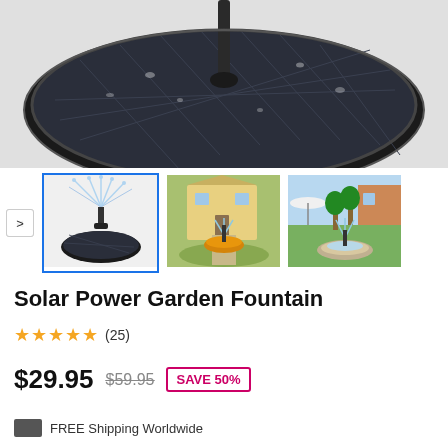[Figure (photo): Close-up top view of a round black solar power garden fountain panel with solar cells and a central water nozzle, water droplets visible on surface, on a light gray background.]
[Figure (photo): Three thumbnail images: 1) Solar fountain device on its own against white background showing water spray; 2) Solar fountain in a yellow bowl birdbath in a garden setting; 3) Solar fountain in a round stone basin in a patio garden with umbrella in background.]
Solar Power Garden Fountain
★★★★★ (25)
$29.95  $59.95  SAVE 50%
FREE Shipping Worldwide